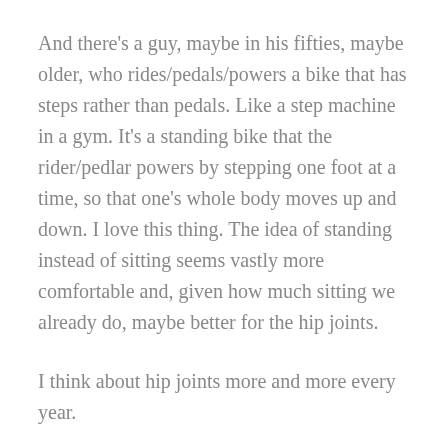And there's a guy, maybe in his fifties, maybe older, who rides/pedals/powers a bike that has steps rather than pedals. Like a step machine in a gym. It's a standing bike that the rider/pedlar powers by stepping one foot at a time, so that one's whole body moves up and down. I love this thing. The idea of standing instead of sitting seems vastly more comfortable and, given how much sitting we already do, maybe better for the hip joints.
I think about hip joints more and more every year.
The bikes I've had in the past are not the bike I want now. For instance, I do not want the red and white tricycle I loved at age six or seven or eight, which I drove at top speeds, fancying myself the envy of